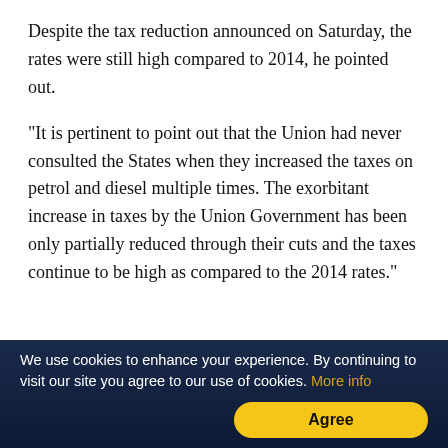Despite the tax reduction announced on Saturday, the rates were still high compared to 2014, he pointed out.
"It is pertinent to point out that the Union had never consulted the States when they increased the taxes on petrol and diesel multiple times. The exorbitant increase in taxes by the Union Government has been only partially reduced through their cuts and the taxes continue to be high as compared to the 2014 rates."
ADVERTISEMENT
We use cookies to enhance your experience. By continuing to visit our site you agree to our use of cookies. More info